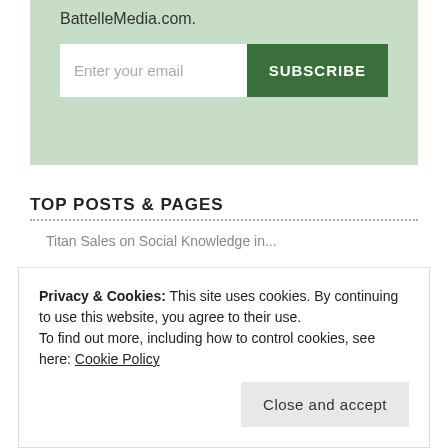BattelleMedia.com.
[Figure (screenshot): Email subscription form with text input 'Enter your email' and green 'SUBSCRIBE' button on a light green background]
TOP POSTS & PAGES
Titan Sales on Social Knowledge in...
Privacy & Cookies: This site uses cookies. By continuing to use this website, you agree to their use.
To find out more, including how to control cookies, see here: Cookie Policy
Close and accept
Comparing Twitter Growth to FBook, GOOG